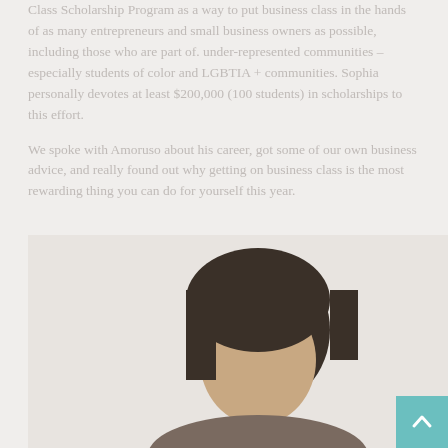Class Scholarship Program as a way to put business class in the hands of as many entrepreneurs and small business owners as possible, including those who are part of. under-represented communities – especially students of color and LGBTIA + communities. Sophia personally devotes at least $200,000 (100 students) in scholarships to this effort.
We spoke with Amoruso about his career, got some of our own business advice, and really found out why getting on business class is the most rewarding thing you can do for yourself this year.
[Figure (photo): A person with dark hair photographed from the shoulders up against a light beige/off-white background. A teal back-to-top button is visible in the lower right corner.]